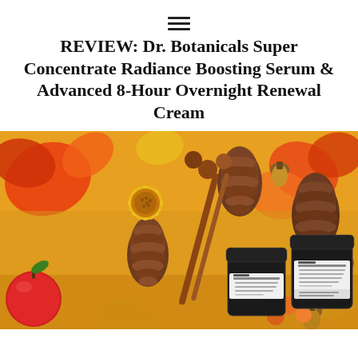≡
REVIEW: Dr. Botanicals Super Concentrate Radiance Boosting Serum & Advanced 8-Hour Overnight Renewal Cream
[Figure (photo): Two Dr. Botanicals skincare products (Super Concentrate Radiance Boosting Serum and Advanced 8-Hour Overnight Renewal Cream) in dark glass jars, photographed on an autumn flat lay background with pine cones, acorns, fall leaves in orange and red, yellow sunflowers, cinnamon sticks, and small fruits.]